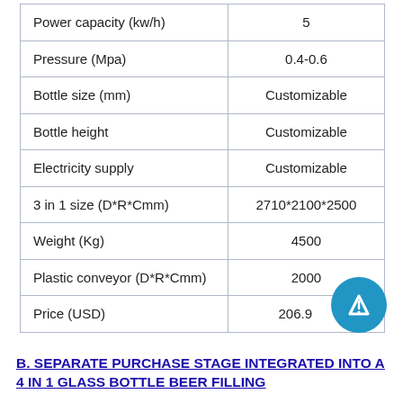| Parameter | Value |
| --- | --- |
| Power capacity (kw/h) | 5 |
| Pressure (Mpa) | 0.4-0.6 |
| Bottle size (mm) | Customizable |
| Bottle height | Customizable |
| Electricity supply | Customizable |
| 3 in 1 size (D*R*Cmm) | 2710*2100*2500 |
| Weight (Kg) | 4500 |
| Plastic conveyor (D*R*Cmm) | 2000 |
| Price (USD) | 206.9 |
B. SEPARATE PURCHASE STAGE INTEGRATED INTO A 4 IN 1 GLASS BOTTLE BEER FILLING